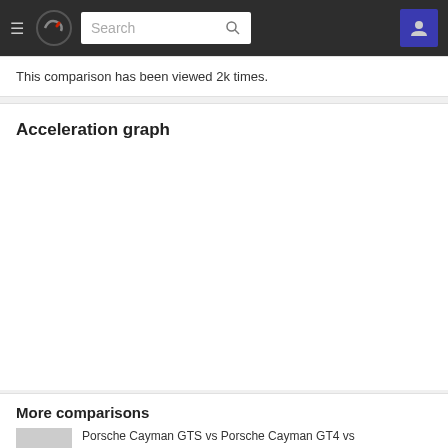≡ [logo] Search [user icon]
This comparison has been viewed 2k times.
Acceleration graph
[Figure (other): Empty acceleration graph area placeholder]
More comparisons
Porsche Cayman GTS vs Porsche Cayman GT4 vs Porsche Boxster Spyder